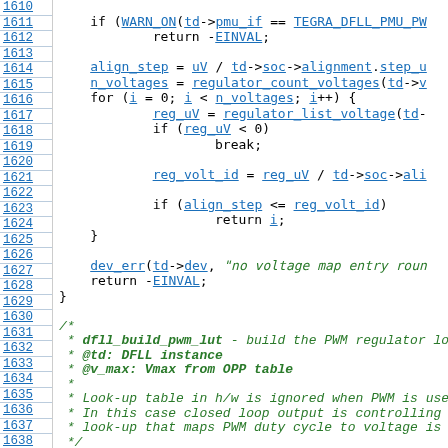[Figure (screenshot): Source code listing with line numbers 1610-1639, showing C kernel code for dfll_build_pwm_lut function with hyperlinked identifiers in blue.]